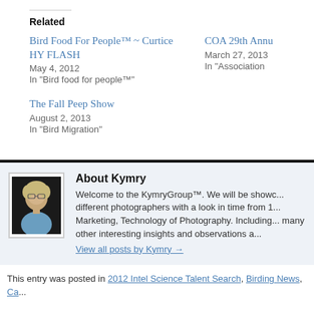Related
Bird Food For People™ ~ Curtice HY FLASH
May 4, 2012
In "Bird food for people™"
COA 29th Annu...
March 27, 2013
In "Association..."
The Fall Peep Show
August 2, 2013
In "Bird Migration"
About Kymry
Welcome to the KymryGroup™. We will be showc... different photographers with a look in time from 1... Marketing, Technology of Photography. Including... many other interesting insights and observations a...
View all posts by Kymry →
This entry was posted in 2012 Intel Science Talent Search, Birding News, Ca...